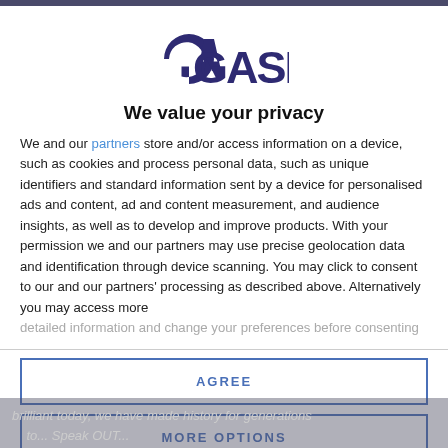[Figure (logo): GSN logo in dark navy/purple stylized text]
We value your privacy
We and our partners store and/or access information on a device, such as cookies and process personal data, such as unique identifiers and standard information sent by a device for personalised ads and content, ad and content measurement, and audience insights, as well as to develop and improve products. With your permission we and our partners may use precise geolocation data and identification through device scanning. You may click to consent to our and our partners' processing as described above. Alternatively you may access more
detailed information and change your preferences before consenting
AGREE
MORE OPTIONS
brilliant today, we have made history for generations to... Speak OUT...